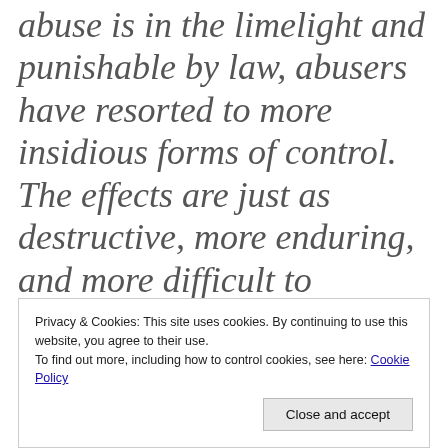abuse is in the limelight and punishable by law, abusers have resorted to more insidious forms of control. The effects are just as destructive, more enduring, and more difficult to overcome.
Privacy & Cookies: This site uses cookies. By continuing to use this website, you agree to their use. To find out more, including how to control cookies, see here: Cookie Policy
Close and accept